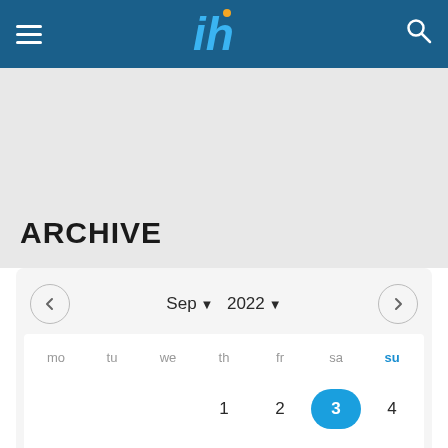[Figure (logo): Navigation header bar with hamburger menu icon, stylized 'ih' logo in light blue on dark blue background, and search icon]
ARCHIVE
[Figure (other): Calendar widget showing September 2022 with navigation arrows. Days of week: mo, tu, we, th, fr, sa, SU. Week 1: th=1, fr=2, sa=3 (highlighted in blue circle), su=4. Week 2: mo=5, tu=6, we=7, th=8, fr=9, sa=10, su=11.]